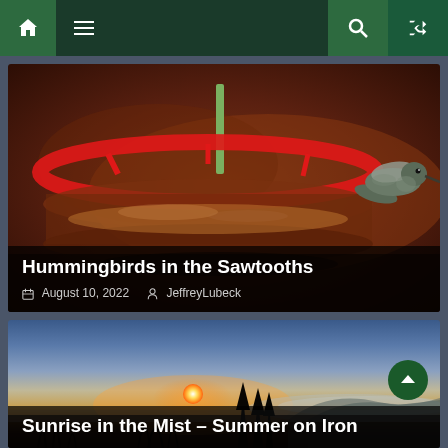Navigation bar with home, menu, search, and shuffle icons
[Figure (photo): Close-up photo of a red hummingbird feeder with a hummingbird hovering at right, warm dark brown background]
Hummingbirds in the Sawtooths
August 10, 2022   JeffreyLubeck
[Figure (photo): Landscape photo of a misty sunrise over fields and tree silhouettes with rolling hills in the background]
Sunrise in the Mist – Summer on Iron